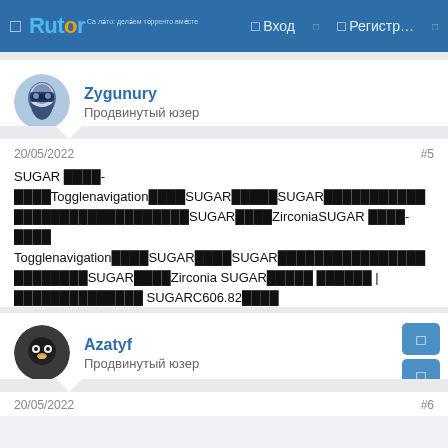Rutor — Вход | Регистр...
Zygunury
Продвинутый юзер
20/05/2022
#5
SUGAR ████-████Togglenavigation████SUGAR█████SUGAR█████████████████████████████SUGAR████ZirconiaSUGAR ████-████ Togglenavigation████SUGAR████SUGAR████████████████████████SUGAR████Zirconia SUGAR█████ ██████ | ██████████████ SUGARC606.82████ 6000███SUGARS55█████SUGART35FUN████████COPYRIGHT © 2020 █SUGAR TAIWAN ████ █████ ████████████ TOP
Azatyf
Продвинутый юзер
20/05/2022
#6